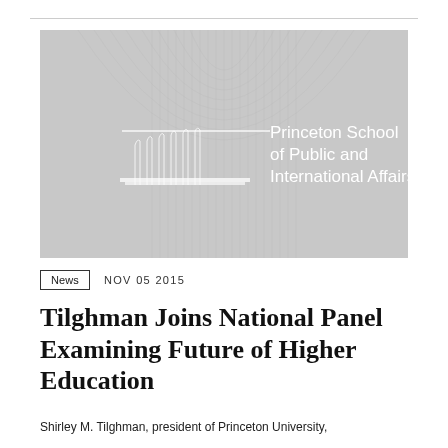[Figure (logo): Princeton School of Public and International Affairs logo on gray background with architectural column design]
News   NOV 05 2015
Tilghman Joins National Panel Examining Future of Higher Education
Shirley M. Tilghman, president of Princeton University,